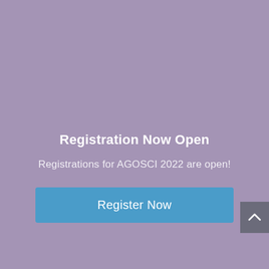Registration Now Open
Registrations for AGOSCI 2022 are open!
[Figure (other): Blue 'Register Now' button]